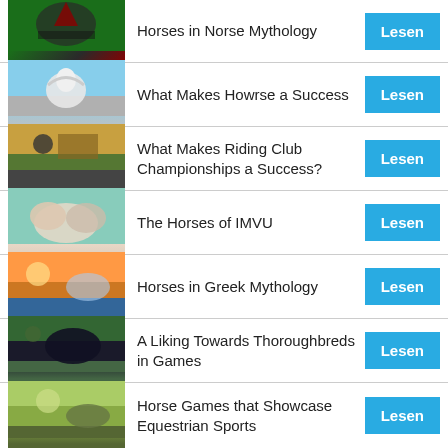Horses in Norse Mythology
What Makes Howrse a Success
What Makes Riding Club Championships a Success?
The Horses of IMVU
Horses in Greek Mythology
A Liking Towards Thoroughbreds in Games
Horse Games that Showcase Equestrian Sports